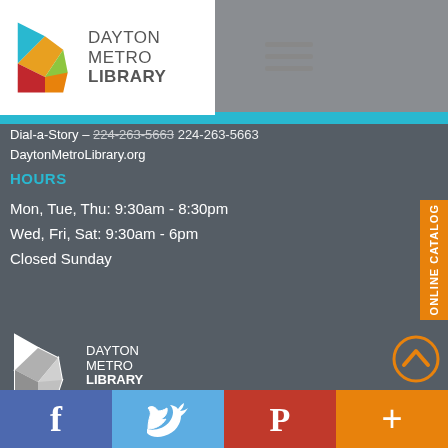[Figure (logo): Dayton Metro Library logo with colorful leaf/pages graphic and text DAYTON METRO LIBRARY]
[Figure (other): Hamburger menu icon (three horizontal lines)]
Dial-a-Story – 224-263-5663
DaytonMetroLibrary.org
HOURS
Mon, Tue, Thu: 9:30am - 8:30pm
Wed, Fri, Sat: 9:30am - 6pm
Closed Sunday
[Figure (logo): Dayton Metro Library white/grey logo with text DAYTON METRO LIBRARY at bottom of page]
[Figure (other): Orange up-arrow circular button]
[Figure (other): Social media bar with Facebook, Twitter, Pinterest, and More buttons]